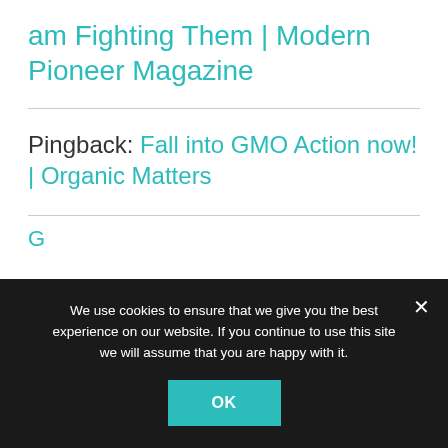am Fighting Them | Modern Pioneer Magazine
Pingback: Fall into GMO Action now! | Organic Matters
We use cookies to ensure that we give you the best experience on our website. If you continue to use this site we will assume that you are happy with it.